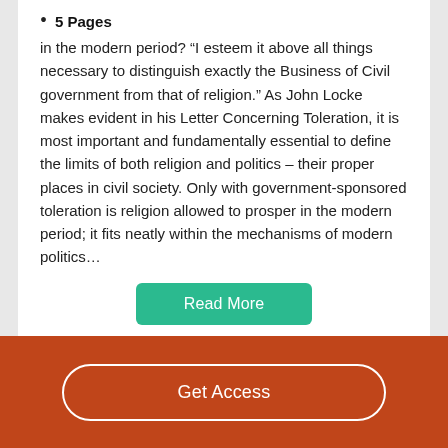5 Pages
in the modern period? “I esteem it above all things necessary to distinguish exactly the Business of Civil government from that of religion.” As John Locke makes evident in his Letter Concerning Toleration, it is most important and fundamentally essential to define the limits of both religion and politics – their proper places in civil society. Only with government-sponsored toleration is religion allowed to prosper in the modern period; it fits neatly within the mechanisms of modern politics…
Read More
Get Access